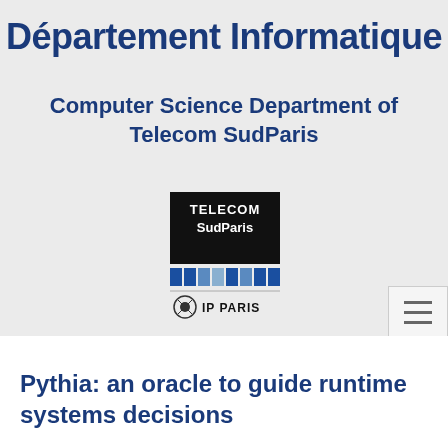Département Informatique
Computer Science Department of Telecom SudParis
[Figure (logo): Telecom SudParis and IP Paris institutional logos]
Pythia: an oracle to guide runtime systems decisions